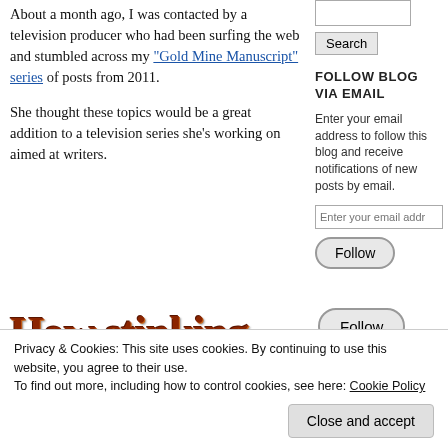About a month ago, I was contacted by a television producer who had been surfing the web and stumbled across my "Gold Mine Manuscript" series of posts from 2011.
She thought these topics would be a great addition to a television series she's working on aimed at writers.
Search
FOLLOW BLOG VIA EMAIL
Enter your email address to follow this blog and receive notifications of new posts by email.
Enter your email addr
Follow
[Figure (illustration): Decorative stylized text reading 'How stinking' in red/brown embossed font]
Privacy & Cookies: This site uses cookies. By continuing to use this website, you agree to their use.
To find out more, including how to control cookies, see here: Cookie Policy
Close and accept